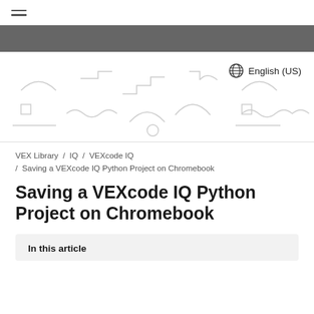≡ (hamburger menu)
[Figure (illustration): Grey banner followed by decorative hero area with light grey geometric shapes (wavy lines, squares, arcs, stepped shapes) and a globe icon with 'English (US)' language selector in the top right]
VEX Library / IQ / VEXcode IQ / Saving a VEXcode IQ Python Project on Chromebook
Saving a VEXcode IQ Python Project on Chromebook
In this article